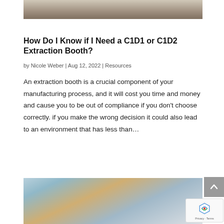[Figure (photo): Partial view of a group of people standing, showing legs and feet on carpet]
How Do I Know if I Need a C1D1 or C1D2 Extraction Booth?
by Nicole Weber | Aug 12, 2022 | Resources
An extraction booth is a crucial component of your manufacturing process, and it will cost you time and money and cause you to be out of compliance if you don't choose correctly. if you make the wrong decision it could also lead to an environment that has less than…
[Figure (photo): Outdoor scene with a truck and autumn trees against a cloudy sky]